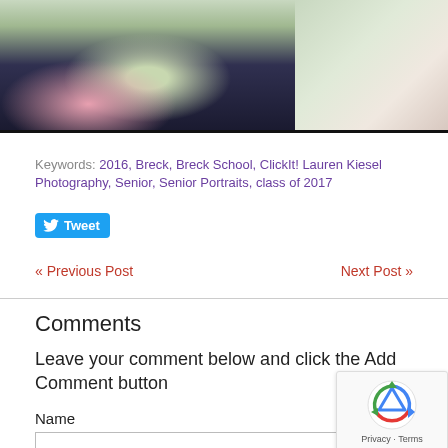[Figure (photo): Two-panel photo strip: left panel shows a couple sitting outdoors with pink flowers and dark pants and white shirt, right panel shows a woman in white top with greenery background]
Keywords: 2016, Breck, Breck School, ClickIt! Lauren Kiesel Photography, Senior, Senior Portraits, class of 2017
[Figure (other): Twitter Tweet button in blue]
« Previous Post
Next Post »
Comments
Leave your comment below and click the Add Comment button
Name
Comment